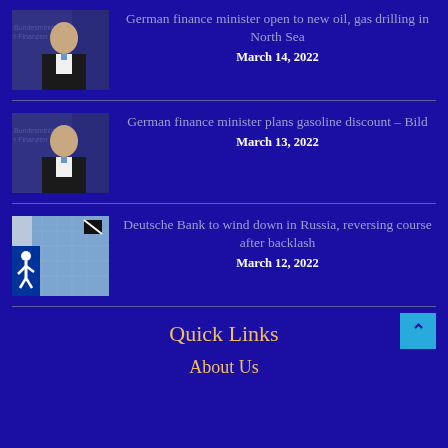[Figure (photo): Portrait photo of German finance minister against official backdrop]
German finance minister open to new oil, gas drilling in North Sea
March 14, 2022
[Figure (photo): Portrait photo of German finance minister against official backdrop]
German finance minister plans gasoline discount – Bild
March 13, 2022
[Figure (photo): Deutsche Bank building exterior with pedestrian crossing sign]
Deutsche Bank to wind down in Russia, reversing course after backlash
March 12, 2022
Quick Links
About Us